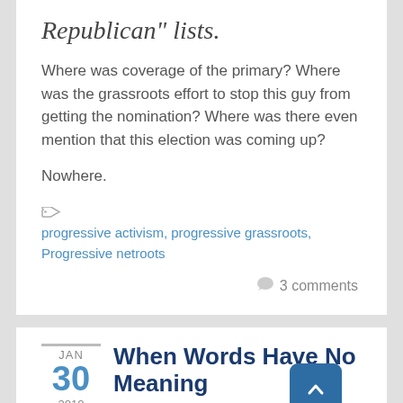Republican" lists.
Where was coverage of the primary? Where was the grassroots effort to stop this guy from getting the nomination? Where was there even mention that this election was coming up?
Nowhere.
progressive activism, progressive grassroots, Progressive netroots
3 comments
When Words Have No Meaning
By Rusty1776 in Politics